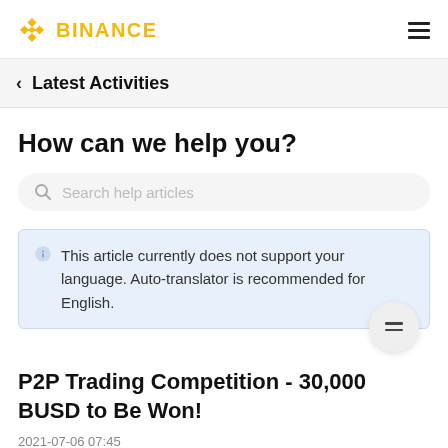BINANCE
< Latest Activities
How can we help you?
Search help articles
This article currently does not support your language. Auto-translator is recommended for English.
P2P Trading Competition - 30,000 BUSD to Be Won!
2021-07-06 07:45